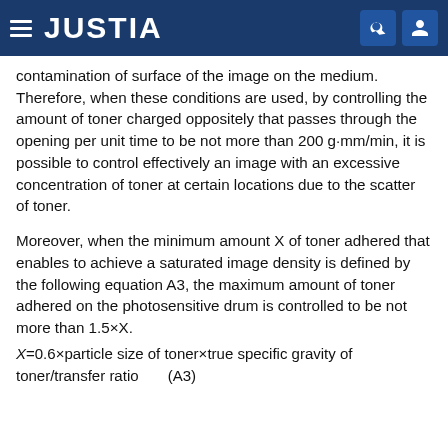JUSTIA
contamination of surface of the image on the medium. Therefore, when these conditions are used, by controlling the amount of toner charged oppositely that passes through the opening per unit time to be not more than 200 g·mm/min, it is possible to control effectively an image with an excessive concentration of toner at certain locations due to the scatter of toner.
Moreover, when the minimum amount X of toner adhered that enables to achieve a saturated image density is defined by the following equation A3, the maximum amount of toner adhered on the photosensitive drum is controlled to be not more than 1.5×X.